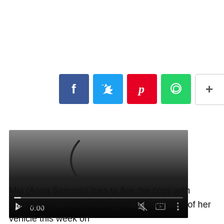[Figure (screenshot): Social media sharing buttons: Facebook (blue), Twitter (light blue), Pinterest (red), WhatsApp (green), and a More (+) button (white/gray border).]
[Figure (screenshot): Video player in dark/gradient state showing play button, timestamp 0:00, mute icon, fullscreen icon, and options dots. A progress bar is shown at the bottom. A curved bracket shape is partially visible at the top.]
Mia (Anna Samson) tries to flee the cops with Matthew's (James Sweeny) body in the boot of her vehicle this week on